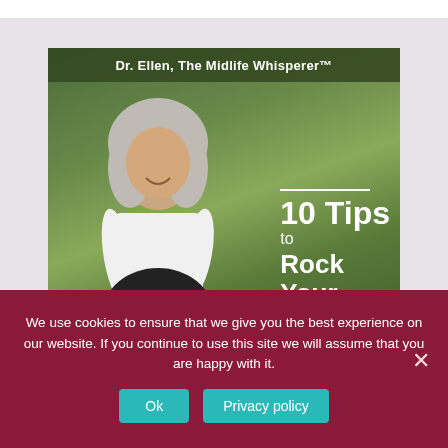[Figure (photo): Book cover image showing Dr. Ellen, The Midlife Whisperer. A smiling middle-aged woman with long grey hair sits outdoors among green foliage wearing a white top. Text overlay reads '10 Tips to Rock Your Midlife'.]
We use cookies to ensure that we give you the best experience on our website. If you continue to use this site we will assume that you are happy with it.